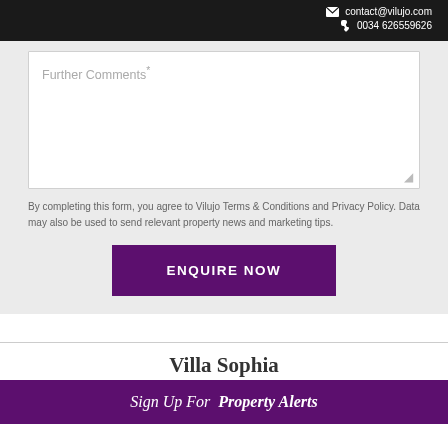contact@vilujo.com  0034 626559626
Further Comments*
By completing this form, you agree to Vilujo Terms & Conditions and Privacy Policy. Data may also be used to send relevant property news and marketing tips.
ENQUIRE NOW
Villa Sophia
Sign Up For  Property Alerts